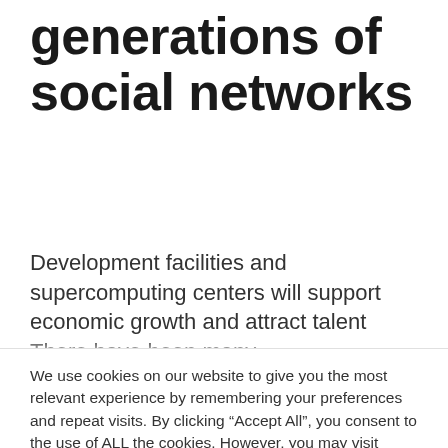generations of social networks
April 18, 2022 by ukliteraturereview.co.uk
Development facilities and supercomputing centers will support economic growth and attract talent There have been many
We use cookies on our website to give you the most relevant experience by remembering your preferences and repeat visits. By clicking “Accept All”, you consent to the use of ALL the cookies. However, you may visit "Cookie Settings" to provide a controlled consent.